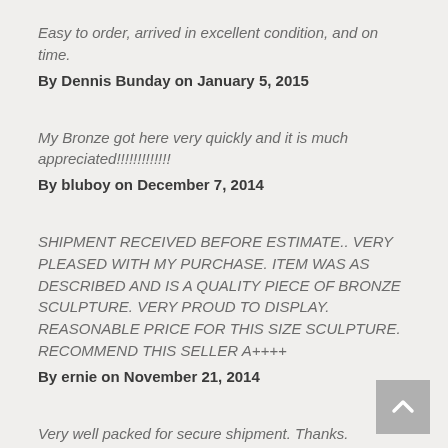Easy to order, arrived in excellent condition, and on time.
By Dennis Bunday on January 5, 2015
My Bronze got here very quickly and it is much appreciated!!!!!!!!!!!!!
By bluboy on December 7, 2014
SHIPMENT RECEIVED BEFORE ESTIMATE.. VERY PLEASED WITH MY PURCHASE. ITEM WAS AS DESCRIBED AND IS A QUALITY PIECE OF BRONZE SCULPTURE. VERY PROUD TO DISPLAY. REASONABLE PRICE FOR THIS SIZE SCULPTURE. RECOMMEND THIS SELLER A++++
By ernie on November 21, 2014
Very well packed for secure shipment. Thanks.
By Robert F. on November 7, 2014
The item arrived quickly and was packed very well, I